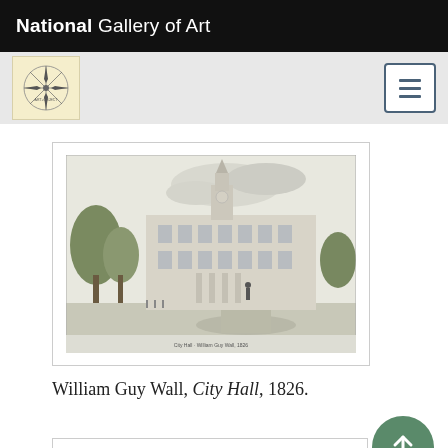National Gallery of Art
[Figure (logo): Art+Object circular compass-style logo in beige/cream box]
[Figure (illustration): Engraving of City Hall building with trees and figures in foreground, by William Guy Wall, 1826]
William Guy Wall, City Hall, 1826.
[Figure (photo): Partial view of a second artwork card at the bottom of the page]